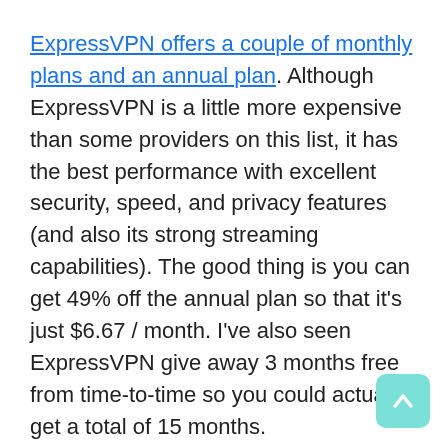ExpressVPN offers a couple of monthly plans and an annual plan. Although ExpressVPN is a little more expensive than some providers on this list, it has the best performance with excellent security, speed, and privacy features (and also its strong streaming capabilities). The good thing is you can get 49% off the annual plan so that it's just $6.67 / month. I've also seen ExpressVPN give away 3 months free from time-to-time so you could actually get a total of 15 months.
ExpressVPN accepts payment in many forms, including 7 different credit cards, PayPal, Bitcoin, and various online banking services — apps like Mint, Qiwi, iDeal, Sofort, and more. There is a 30-day money-back guarantee with each plan.